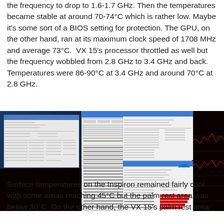the frequency to drop to 1.6-1.7 GHz. Then the temperatures became stable at around 70-74°C which is rather low. Maybe it's some sort of a BIOS setting for protection. The GPU, on the other hand, ran at its maximum clock speed of 1708 MHz and average 73°C.  VX 15's processor throttled as well but the frequency wobbled from 2.8 GHz to 3.4 GHz and back. Temperatures were 86-90°C at 3.4 GHz and around 70°C at 2.8 GHz.
[Figure (screenshot): Composite screenshot showing HWInfo64 sensor monitoring windows with CPU/GPU temperature and frequency data, alongside dark graph panels showing performance over time. Multiple overlapping monitoring windows visible.]
Surface temperatures on the Inspiron remained fairly cool with some areas reaching 45°C but the palm rest area was below 30°C. On the other hand, the VX 15's palm rest area